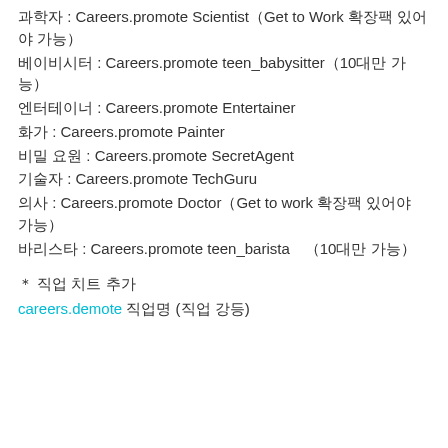과학자 : Careers.promote Scientist（Get to Work 확장팩 있어야 가능）
베이비시터 : Careers.promote teen_babysitter（10대만 가능）
엔터테이너 : Careers.promote Entertainer
화가 : Careers.promote Painter
비밀 요원 : Careers.promote SecretAgent
기술자 : Careers.promote TechGuru
의사 : Careers.promote Doctor（Get to work 확장팩 있어야 가능）
바리스타 : Careers.promote teen_barista　（10대만 가능）
＊ 직업 치트 추가
careers.demote 직업명 (직업 강등)